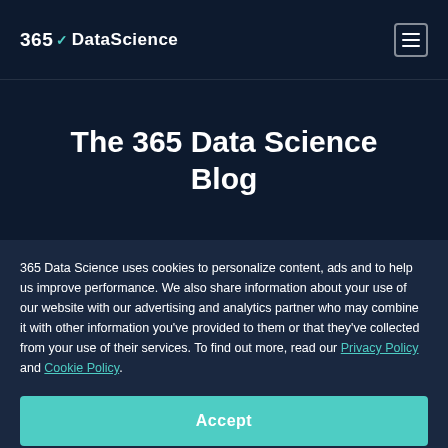365 Data Science
The 365 Data Science Blog
365 Data Science uses cookies to personalize content, ads and to help us improve performance. We also share information about your use of our website with our advertising and analytics partner who may combine it with other information you've provided to them or that they've collected from your use of their services. To find out more, read our Privacy Policy and Cookie Policy.
Accept